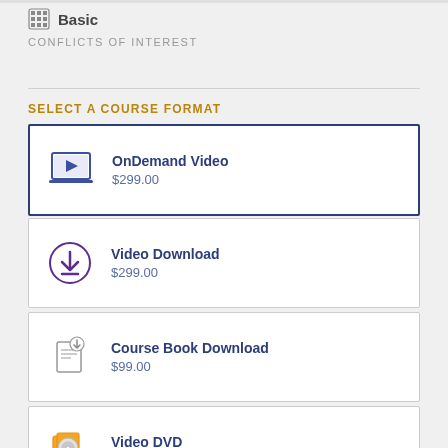Basic
CONFLICTS OF INTEREST
SELECT A COURSE FORMAT
OnDemand Video $299.00
Video Download $299.00
Course Book Download $99.00
Video DVD $299.00